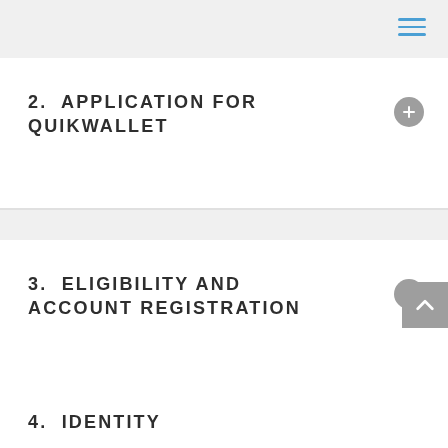[Figure (other): Hamburger menu icon with three blue horizontal lines in top right corner]
2. APPLICATION FOR QUIKWALLET
3. ELIGIBILITY AND ACCOUNT REGISTRATION
4. IDENTITY